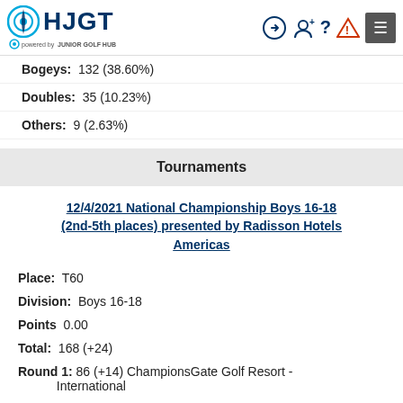HJGT - powered by Junior Golf Hub
Bogeys: 132 (38.60%)
Doubles: 35 (10.23%)
Others: 9 (2.63%)
Tournaments
12/4/2021 National Championship Boys 16-18 (2nd-5th places) presented by Radisson Hotels Americas
Place: T60
Division: Boys 16-18
Points 0.00
Total: 168 (+24)
Round 1: 86 (+14) ChampionsGate Golf Resort - International
Show Scorecard
Round 2: 82 (+10) ChampionsGate Golf Resort -